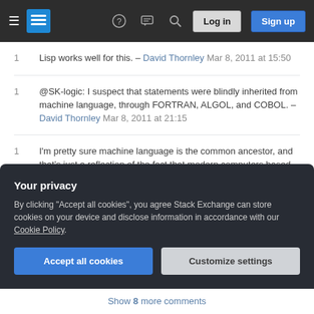Stack Exchange navigation bar with Log in and Sign up buttons
1  Lisp works well for this. – David Thornley Mar 8, 2011 at 15:50
1  @SK-logic: I suspect that statements were blindly inherited from machine language, through FORTRAN, ALGOL, and COBOL. – David Thornley Mar 8, 2011 at 21:15
1  I'm pretty sure machine language is the common ancestor, and that's just a reflection of the fact that modern computers based on von Neumann architecture execute instructions sequentially and modify state. Ultimately when IO happens, there are going to be...
Your privacy
By clicking "Accept all cookies", you agree Stack Exchange can store cookies on your device and disclose information in accordance with our Cookie Policy.
Accept all cookies | Customize settings
Show 8 more comments